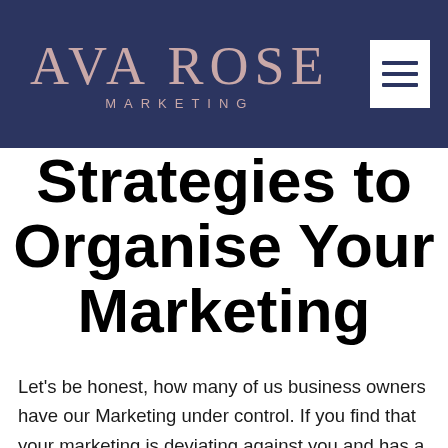[Figure (logo): Ava Rose Marketing logo with hamburger menu icon on dark navy background]
Strategies to Organise Your Marketing
Let's be honest, how many of us business owners have our Marketing under control. If you find that your marketing is deviating against you and has a mind of its own, then don't panic. I will be covering all the steps to take in order to get it tamed and working hand in hand with